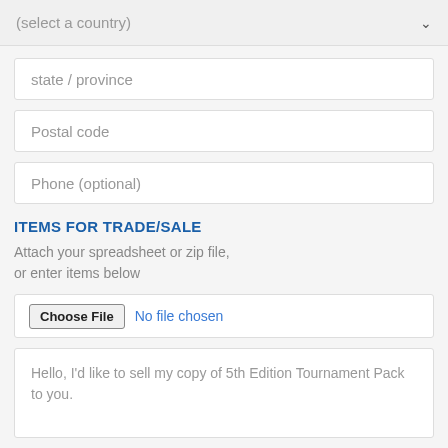(select a country)
state / province
Postal code
Phone (optional)
ITEMS FOR TRADE/SALE
Attach your spreadsheet or zip file, or enter items below
Choose File  No file chosen
Hello, I'd like to sell my copy of 5th Edition Tournament Pack to you.